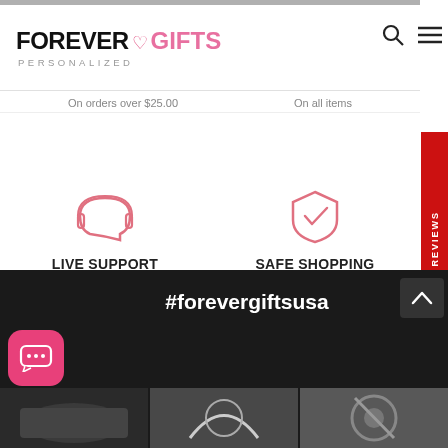FOREVER GIFTS PERSONALIZED
On orders over $25.00   On all items
LIVE SUPPORT
M-F 9AM TO 5PM PST
SAFE SHOPPING
Secure Website
[Figure (logo): BBB Accredited Business badge with BBB logo on white left panel and blue right panel reading ACCREDITED BUSINESS. Below: BBB Rating: A+]
#forevergiftsusa
[Figure (photo): Three product thumbnail photos at bottom of page on dark background]